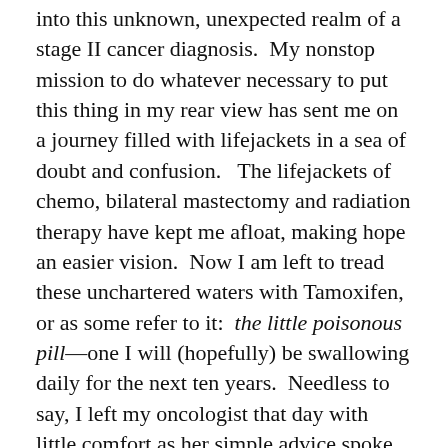into this unknown, unexpected realm of a stage II cancer diagnosis. My nonstop mission to do whatever necessary to put this thing in my rear view has sent me on a journey filled with lifejackets in a sea of doubt and confusion. The lifejackets of chemo, bilateral mastectomy and radiation therapy have kept me afloat, making hope an easier vision. Now I am left to tread these unchartered waters with Tamoxifen, or as some refer to it: the little poisonous pill—one I will (hopefully) be swallowing daily for the next ten years. Needless to say, I left my oncologist that day with little comfort as her simple advice spoke angst in my heart. She advised me from this point forward I need to be mindful of pain that appears suddenly or lasts longer than usual, any shortness of breath or recurring headaches … etc. Basically, I left the exam room that day feeling powerless,